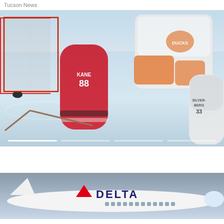Tucson News
[Figure (photo): Hockey action photo: Chicago Blackhawks player Patrick Kane (#88) in red jersey shooting on goal, with Anaheim Ducks goalie making a save and Silverberg (#33) in background on ice rink. Slider navigation dots at bottom.]
[Figure (photo): Delta Air Lines airplane on ground, white fuselage with Delta triangle logo and text.]